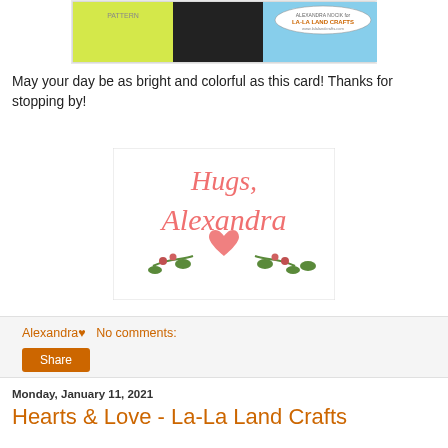[Figure (photo): Colorful crafting card with La-La Land Crafts branding at top]
May your day be as bright and colorful as this card! Thanks for stopping by!
[Figure (illustration): Hugs, Alexandra signature with decorative heart and floral elements]
Alexandra♥   No comments:
Share
Monday, January 11, 2021
Hearts & Love - La-La Land Crafts